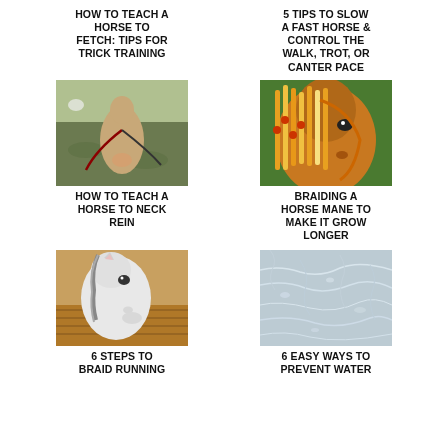HOW TO TEACH A HORSE TO FETCH: TIPS FOR TRICK TRAINING
5 TIPS TO SLOW A FAST HORSE & CONTROL THE WALK, TROT, OR CANTER PACE
[Figure (photo): View from horseback looking down at horse neck and reins on grass]
[Figure (photo): Close-up of a horse with braided orange and white mane with decorations]
HOW TO TEACH A HORSE TO NECK REIN
BRAIDING A HORSE MANE TO MAKE IT GROW LONGER
[Figure (photo): White horse with braided mane in profile view]
[Figure (photo): Icy water surface showing easy ways to prevent water freezing]
6 STEPS TO BRAID RUNNING
6 EASY WAYS TO PREVENT WATER